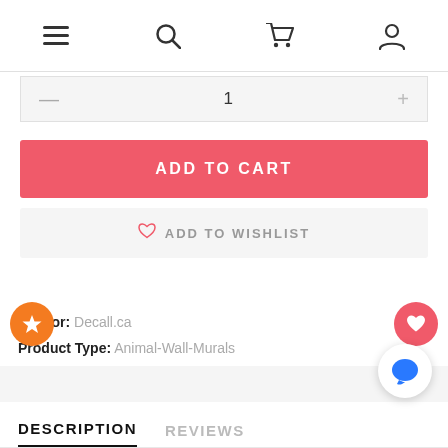Menu | Search | Cart | Account
— 1 +
ADD TO CART
♡ ADD TO WISHLIST
Vendor: Decall.ca
Product Type: Animal-Wall-Murals
DESCRIPTION
REVIEWS